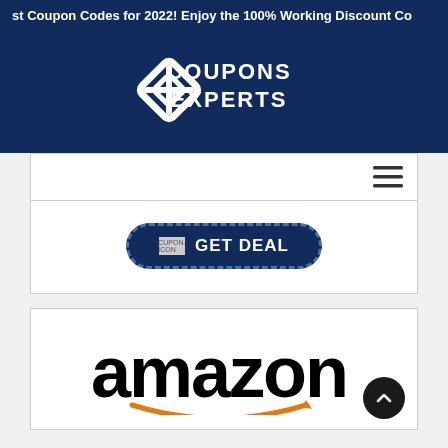st Coupon Codes for 2022! Enjoy the 100% Working Discount Co
[Figure (logo): Coupons Experts logo: diamond/chain link icon in white on dark navy background, with text COUPONS EXPERTS in white bold capitals]
[Figure (screenshot): Navigation bar with hamburger menu icon on right side, white background with border]
[Figure (infographic): GET DEAL button with dashed border on dark navy background, with coupon icon placeholder on left]
[Figure (logo): Amazon logo: large black bold amazon wordmark with orange smile arrow beneath, on white background. Scroll-to-top circular dark button with up arrow on bottom right.]